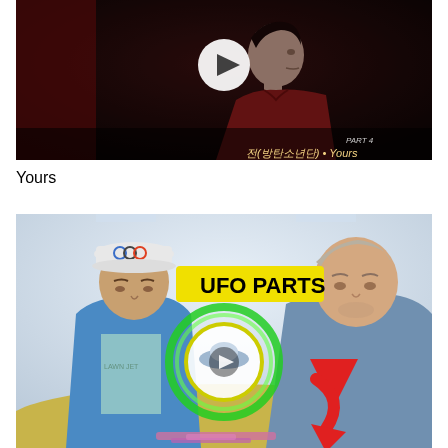[Figure (screenshot): Video thumbnail showing a person in profile view wearing a red jacket against a dark background with Korean text '전(방탄소년단) • Yours' and 'PART 4' text, with a play button overlay]
Yours
[Figure (screenshot): Video thumbnail showing two men looking down at a table with 'UFO PARTS' text in yellow/black, a circular image of a UFO, a red arrow pointing down, and various graphic overlays. Left man wears a blue jacket and Olympics cap, right man wears a grey shirt.]